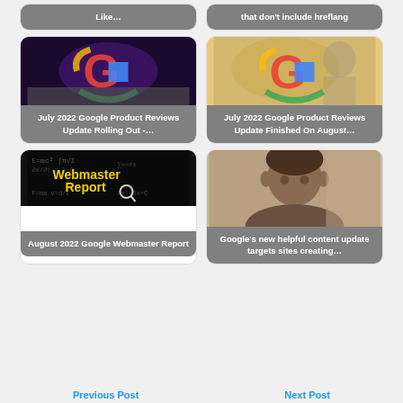[Figure (screenshot): Partial card top-left showing truncated text 'Like…']
[Figure (screenshot): Partial card top-right showing truncated text 'that don't include hreflang']
[Figure (photo): Google logo on dark background card with label 'July 2022 Google Product Reviews Update Rolling Out -…']
[Figure (photo): Google logo on light background card with label 'July 2022 Google Product Reviews Update Finished On August…']
[Figure (screenshot): Webmaster Report banner card with label 'August 2022 Google Webmaster Report']
[Figure (photo): Person's face card with label 'Google's new helpful content update targets sites creating…']
Previous Post   Next Post